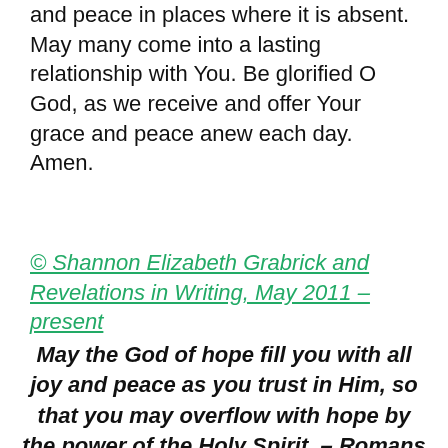and peace in places where it is absent. May many come into a lasting relationship with You. Be glorified O God, as we receive and offer Your grace and peace anew each day. Amen.
© Shannon Elizabeth Grabrick and Revelations in Writing, May 2011 – present
May the God of hope fill you with all joy and peace as you trust in Him, so that you may overflow with hope by the power of the Holy Spirit. – Romans 15:13